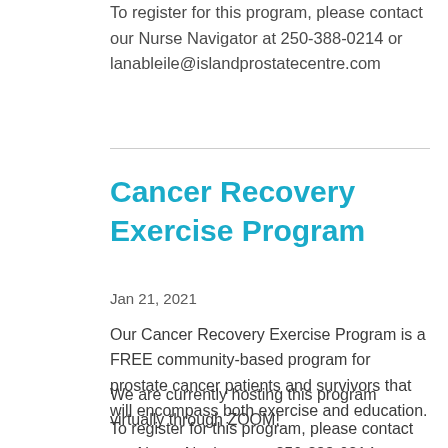To register for this program, please contact our Nurse Navigator at 250-388-0214 or lanableile@islandprostatecentre.com
Cancer Recovery Exercise Program
Jan 21, 2021
Our Cancer Recovery Exercise Program is a FREE community-based program for prostate cancer patients and survivors that will encompass both exercise and education.
We are currently hosting this program virtually through ZOOM!
To register for this program, please contact our Nurse Navigator at 250-388-0214